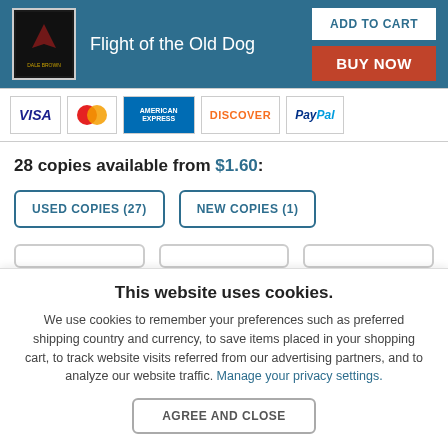Flight of the Old Dog
[Figure (screenshot): Payment method icons: VISA, MasterCard, American Express, Discover, PayPal]
28 copies available from $1.60:
USED COPIES (27)  NEW COPIES (1)
This website uses cookies.
We use cookies to remember your preferences such as preferred shipping country and currency, to save items placed in your shopping cart, to track website visits referred from our advertising partners, and to analyze our website traffic. Manage your privacy settings.
AGREE AND CLOSE